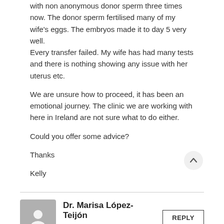with non anonymous donor sperm three times now. The donor sperm fertilised many of my wife's eggs. The embryos made it to day 5 very well. Every transfer failed. My wife has had many tests and there is nothing showing any issue with her uterus etc.
We are unsure how to proceed, it has been an emotional journey. The clinic we are working with here in Ireland are not sure what to do either.
Could you offer some advice?
Thanks
Kelly
Dr. Marisa López-Teijón
7 August, 2017 at 10:36
Dear Kelly,
It is pretty difficult to give you any advice since we don´t know your medical history. We will be very happy to help you in our clinic in Clane if you want to visit us.